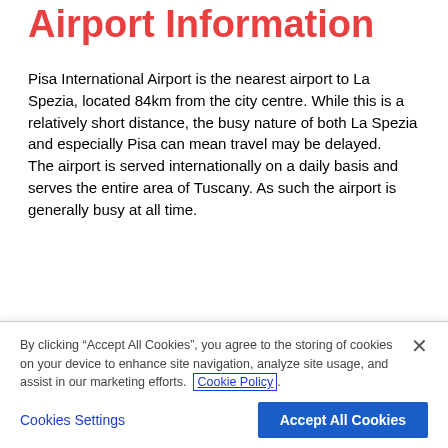Airport Information
Pisa International Airport is the nearest airport to La Spezia, located 84km from the city centre. While this is a relatively short distance, the busy nature of both La Spezia and especially Pisa can mean travel may be delayed.
The airport is served internationally on a daily basis and serves the entire area of Tuscany. As such the airport is generally busy at all time.
Top Car Hire
Locations in Italy
By clicking “Accept All Cookies”, you agree to the storing of cookies on your device to enhance site navigation, analyze site usage, and assist in our marketing efforts. Cookie Policy.